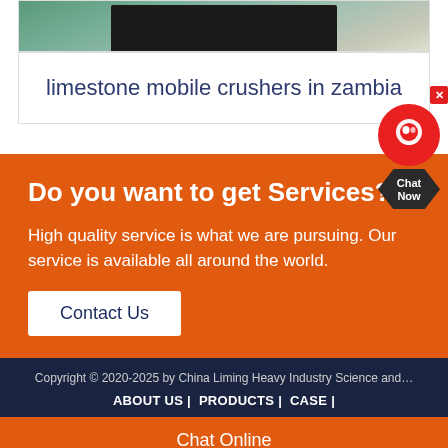[Figure (photo): Top portion of a product/machinery photo, showing industrial equipment against a teal/green background]
limestone mobile crushers in zambia
Do you want to get Services?
High quality service is what we are pursuing. Our service is available all around the world.
Contact Us
Copyright © 2020-2025 by China Liming Heavy Industry Science and…
ABOUT US |  PRODUCTS |  CASE |
Chat Online